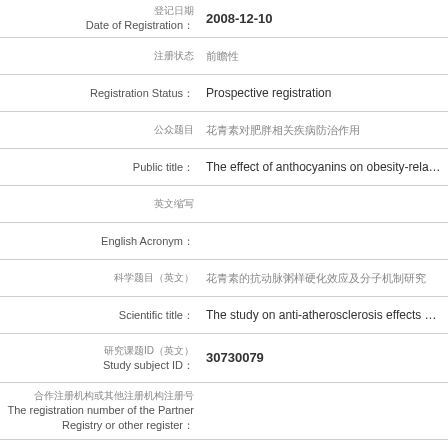| Field | Value |
| --- | --- |
| Date of Registration | 2008-12-10 |
| Registration Status | Prospective registration |
| Public title | The effect of anthocyanins on obesity-related dise… |
| English Acronym |  |
| Scientific title | The study on anti-atherosclerosis effects and mole… |
| Study subject ID | 30730079 |
| The registration number of the Partner Registry or other register |  |
| Applicant | Zhu Yanna |
| Applicant telephone | +86 0 13632407152 |